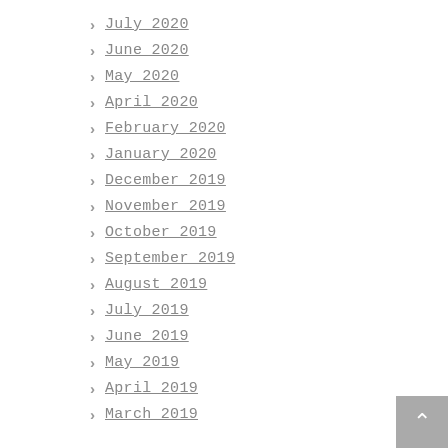July 2020
June 2020
May 2020
April 2020
February 2020
January 2020
December 2019
November 2019
October 2019
September 2019
August 2019
July 2019
June 2019
May 2019
April 2019
March 2019